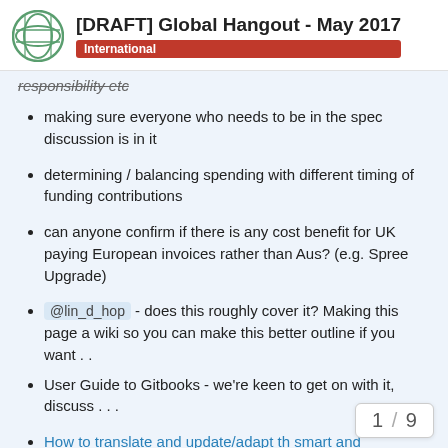[DRAFT] Global Hangout - May 2017 | International
responsibility etc
making sure everyone who needs to be in the spec discussion is in it
determining / balancing spending with different timing of funding contributions
can anyone confirm if there is any cost benefit for UK paying European invoices rather than Aus? (e.g. Spree Upgrade)
@lin_d_hop - does this roughly cover it? Making this page a wiki so you can make this better outline if you want . .
User Guide to Gitbooks - we're keen to get on with it, discuss . . .
How to translate and update/adapt th… smart and collaborative way?
1 / 9